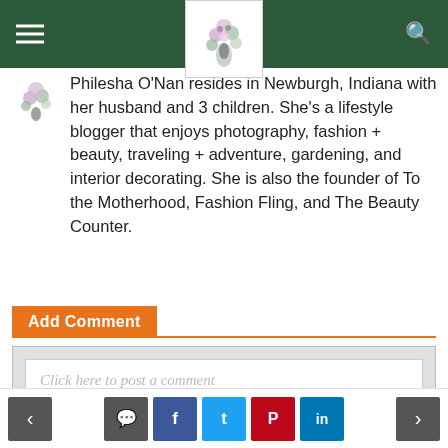[Navigation header with hamburger menu, floral logo, and search icon on green background]
Philesha O'Nan resides in Newburgh, Indiana with her husband and 3 children. She's a lifestyle blogger that enjoys photography, fashion + beauty, traveling + adventure, gardening, and interior decorating. She is also the founder of To the Motherhood, Fashion Fling, and The Beauty Counter.
Add Comment
Click here to post a comment
[Navigation: back arrow, comment icon, Facebook, Twitter, Pinterest, LinkedIn, forward arrow]